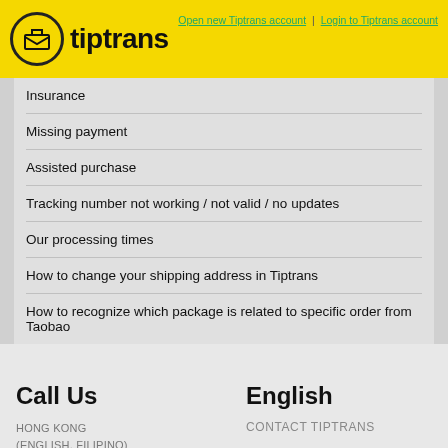tiptrans | Open new Tiptrans account | Login to Tiptrans account
Insurance
Missing payment
Assisted purchase
Tracking number not working / not valid / no updates
Our processing times
How to change your shipping address in Tiptrans
How to recognize which package is related to specific order from Taobao
Call Us
HONG KONG (ENGLISH, FILIPINO)
+852 27845591
UNITED KINGDOM (ENGLISH, PORTUGUESE, SPANISH)
+44 1519365216
CZECH REPUBLIC
English
CONTACT TIPTRANS
OPEN AN ACCOUNT
Česky